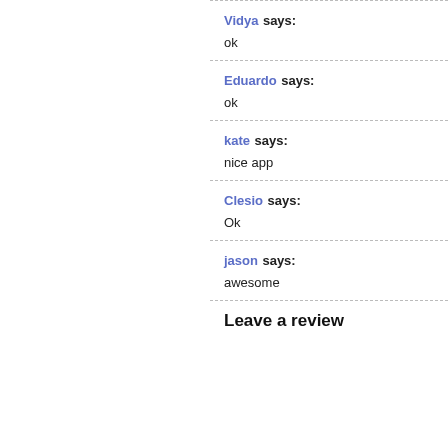Vidya says: ok
Eduardo says: ok
kate says: nice app
Clesio says: Ok
jason says: awesome
Leave a review